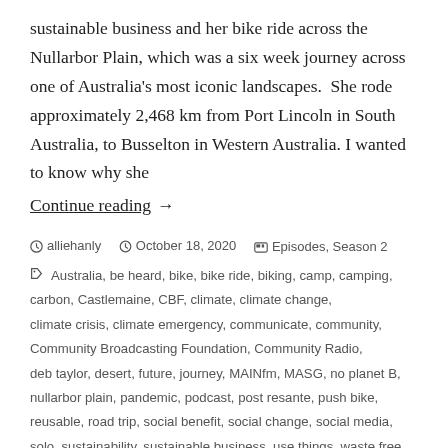sustainable business and her bike ride across the Nullarbor Plain, which was a six week journey across one of Australia's most iconic landscapes.  She rode approximately 2,468 km from Port Lincoln in South Australia, to Busselton in Western Australia. I wanted to know why she
Continue reading  →
alliehanly   October 18, 2020   Episodes, Season 2
Australia, be heard, bike, bike ride, biking, camp, camping, carbon, Castlemaine, CBF, climate, climate change, climate crisis, climate emergency, communicate, community, Community Broadcasting Foundation, Community Radio, deb taylor, desert, future, journey, MAINfm, MASG, no planet B, nullarbor plain, pandemic, podcast, post resante, push bike, reusable, road trip, social benefit, social change, social media, solo, sustainability, sustainable business, use things, waste free